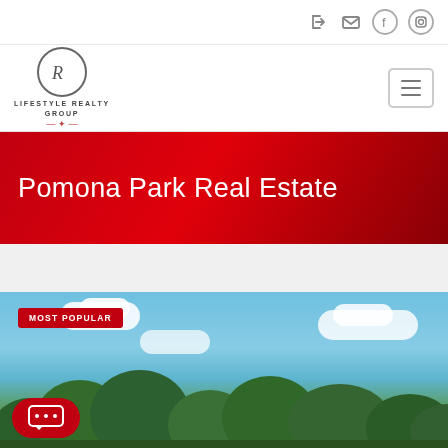Social and login icons (top bar)
[Figure (logo): Lifestyle Realty Group logo with circular R emblem]
Pomona Park Real Estate
MOST POPULAR
[Figure (photo): Outdoor photo showing blue sky with white clouds and green trees below]